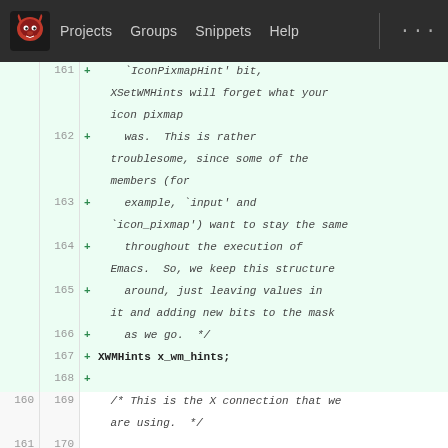Projects  Groups  Snippets  Help
[Figure (screenshot): GitLab diff view showing lines 161-171 of a C source file, with added lines (green background) showing comments about IconPixmapHint, XSetWMHints, XWMHints x_wm_hints, and normal context lines about X connection and Display *x_current_display.]